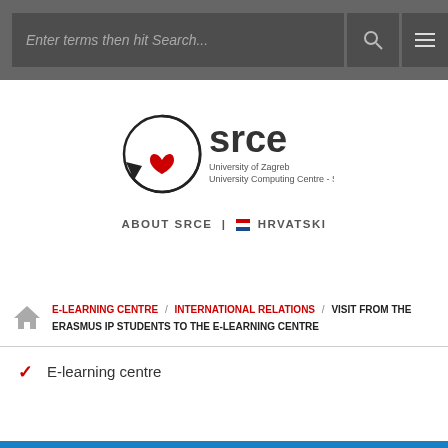Enter terms then hit Search...
[Figure (logo): SRCE - University of Zagreb University Computing Centre logo with circular arrow and heart symbol]
ABOUT SRCE | HRVATSKI
E-LEARNING CENTRE / INTERNATIONAL RELATIONS / VISIT FROM THE ERASMUS IP STUDENTS TO THE E-LEARNING CENTRE
E-learning centre